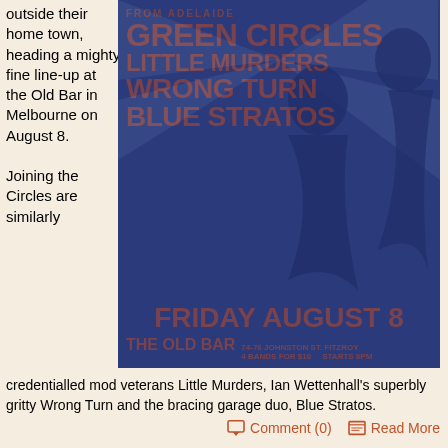outside their home town, heading a mighty fine line-up at the Old Bar in Melbourne on August 8.

Joining the Circles are similarly
[Figure (illustration): Concert poster on dark navy background with orange/red bold text. FROM ADELAIDE at top, then band names: GREEN CIRCLES, LITTLE MURDERS, WRONG TURN, BLUE STRATOS. Bottom: FRIDAY AUGUST 8 / THE OLD BAR 74-76 JOHNSTON ST. FITZROY / 4 BANDS FOR $10 STARTS 8PM. Silhouette figures in background.]
credentialled mod veterans Little Murders, Ian Wettenhall's superbly gritty Wrong Turn and the bracing garage duo, Blue Stratos.
Comment (0)     Read More